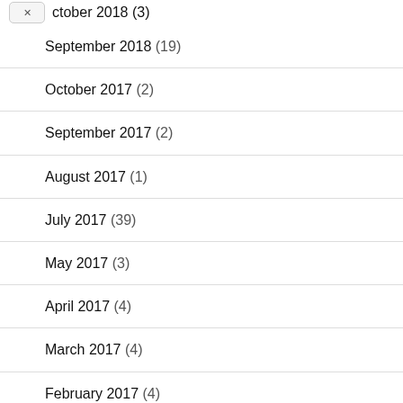October 2018 (3)
September 2018 (19)
October 2017 (2)
September 2017 (2)
August 2017 (1)
July 2017 (39)
May 2017 (3)
April 2017 (4)
March 2017 (4)
February 2017 (4)